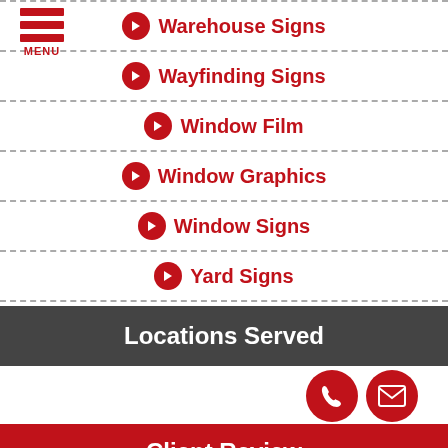[Figure (logo): Red hamburger menu icon with three horizontal bars and MENU text below]
Warehouse Signs
Wayfinding Signs
Window Film
Window Graphics
Window Signs
Yard Signs
Locations Served
Client Review